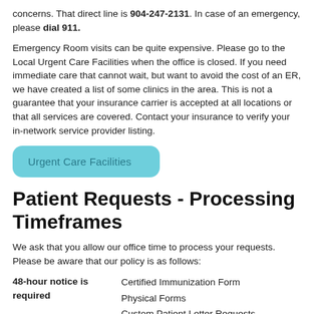concerns. That direct line is 904-247-2131. In case of an emergency, please dial 911.
Emergency Room visits can be quite expensive. Please go to the Local Urgent Care Facilities when the office is closed. If you need immediate care that cannot wait, but want to avoid the cost of an ER, we have created a list of some clinics in the area. This is not a guarantee that your insurance carrier is accepted at all locations or that all services are covered. Contact your insurance to verify your in-network service provider listing.
[Figure (other): Teal rounded button labeled 'Urgent Care Facilities']
Patient Requests - Processing Timeframes
We ask that you allow our office time to process your requests. Please be aware that our policy is as follows:
| 48-hour notice is required | Certified Immunization Form
Physical Forms
Custom Patient Letter Requests |